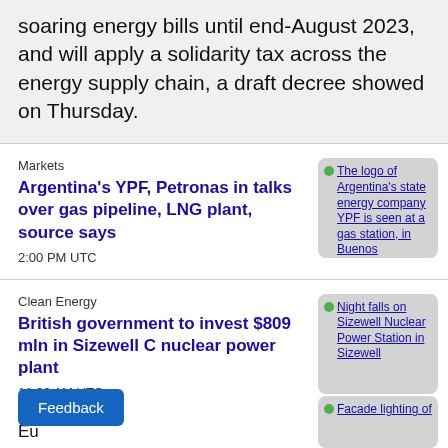soaring energy bills until end-August 2023, and will apply a solidarity tax across the energy supply chain, a draft decree showed on Thursday.
Markets
Argentina's YPF, Petronas in talks over gas pipeline, LNG plant, source says
2:00 PM UTC
[Figure (photo): The logo of Argentina's state energy company YPF is seen at a gas station, in Buenos]
Clean Energy
British government to invest $809 mln in Sizewell C nuclear power plant
11:22 AM UTC
[Figure (photo): Night falls on Sizewell Nuclear Power Station in Sizewell]
Feedback
Eu
[Figure (photo): Facade lighting of]